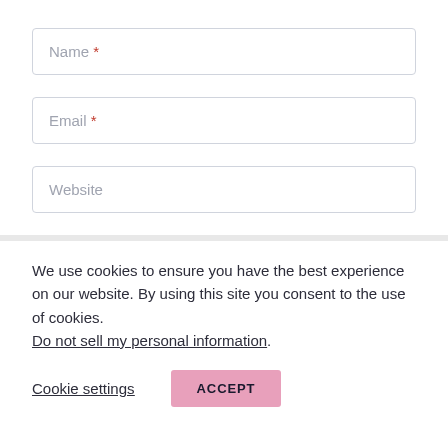Name *
Email *
Website
We use cookies to ensure you have the best experience on our website. By using this site you consent to the use of cookies.
Do not sell my personal information.
Cookie settings
ACCEPT